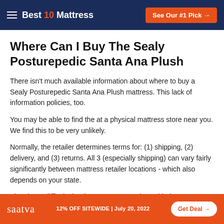Best 10 Mattress | See Our #1 Pick →
Where Can I Buy The Sealy Posturepedic Santa Ana Plush
There isn't much available information about where to buy a Sealy Posturepedic Santa Ana Plush mattress. This lack of information policies, too.
You may be able to find the at a physical mattress store near you. We find this to be very unlikely.
Normally, the retailer determines terms for: (1) shipping, (2) delivery, and (3) returns. All 3 (especially shipping) can vary fairly significantly between mattress retailer locations - which also depends on your state.
The above difficulty is why we recommend considering alternatives that you can find online.
saatva 12% OFF SITEWIDE | July 20, 2022 Get Deal →